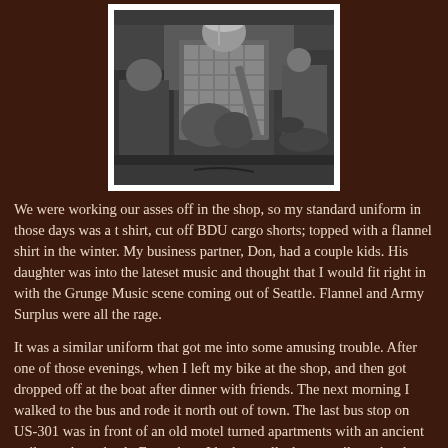[Figure (photo): Black and white photograph of a musician playing guitar on stage, wearing a plaid/flannel shirt, with other band members visible in the background including a drummer]
We were working our asses off in the shop, so my standard uniform in those days was a t shirt, cut off BDU cargo shorts; topped with a flannel shirt in the winter. My business partner, Don, had a couple kids. His daughter was into the lateset music and thought that I would fit right in with the Grunge Music scene coming out of Seattle. Flannel and Army Surplus were all the rage.
It was a similar uniform that got me into some amusing trouble. After one of those evenings, when I left my bike at the shop, and then got dropped off at the boat after dinner with friends. The next morning I walked to the bus and rode it north out of town. The last bus stop on US-301 was in front of an old motel turned apartments with an ancient trailer park out back. From there I had to walk about a mile to the shop. US-301...